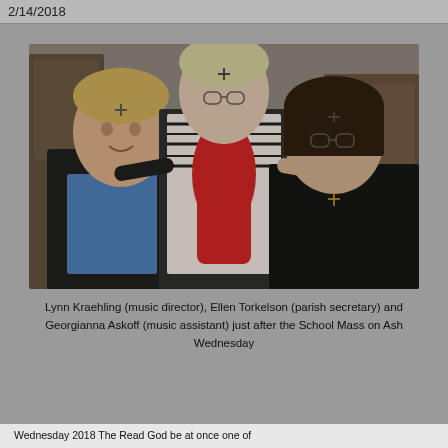2/14/2018
[Figure (photo): Three people posing together: a man with blond hair on the left wearing a blue shirt, a taller woman in the center with short blond/gray hair wearing glasses and a red scarf over a black and white patterned jacket, and a woman on the right with dark hair wearing glasses and a black jacket with a cross necklace. All appear to have ash marks on their foreheads.]
Lynn Kraehling (music director), Ellen Torkelson (parish secretary) and Georgianna Askoff (music assistant) just after the School Mass on Ash Wednesday
Wednesday 2018 The Read God be at once one of